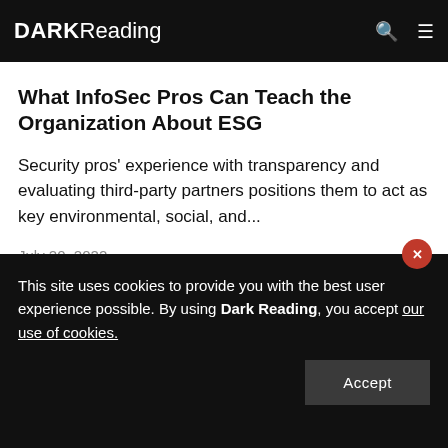DARK Reading
What InfoSec Pros Can Teach the Organization About ESG
Security pros' experience with transparency and evaluating third-party partners positions them to act as key environmental, social, and...
July 20, 2022
This site uses cookies to provide you with the best user experience possible. By using Dark Reading, you accept our use of cookies.